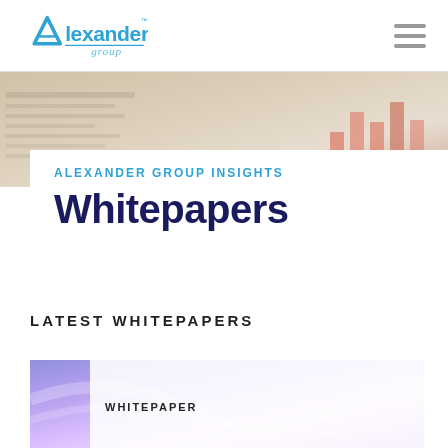[Figure (logo): Alexander Group logo with triangle 'A' icon in blue, 'Alexander' in blue text, 'group' in light blue script below, with trademark symbol]
[Figure (photo): Blurred hero background image showing documents/charts on a desk in warm beige tones with colorful bar chart visible in upper right]
ALEXANDER GROUP INSIGHTS
Whitepapers
LATEST WHITEPAPERS
[Figure (photo): Colorful abstract holographic pastel gradient image (purple, pink, blue tones) used as whitepaper thumbnail card with 'WHITEPAPER' label overlay]